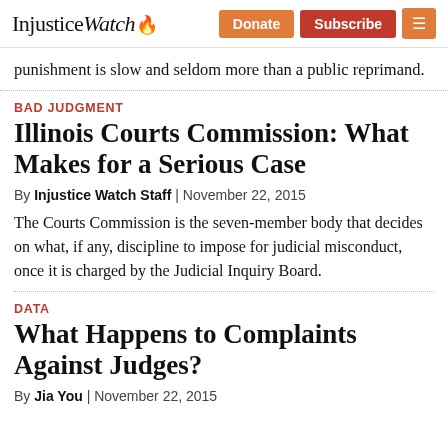InjusticeWatch — Donate | Subscribe | Menu
punishment is slow and seldom more than a public reprimand.
BAD JUDGMENT
Illinois Courts Commission: What Makes for a Serious Case
By Injustice Watch Staff | November 22, 2015
The Courts Commission is the seven-member body that decides on what, if any, discipline to impose for judicial misconduct, once it is charged by the Judicial Inquiry Board.
DATA
What Happens to Complaints Against Judges?
By Jia You | November 22, 2015